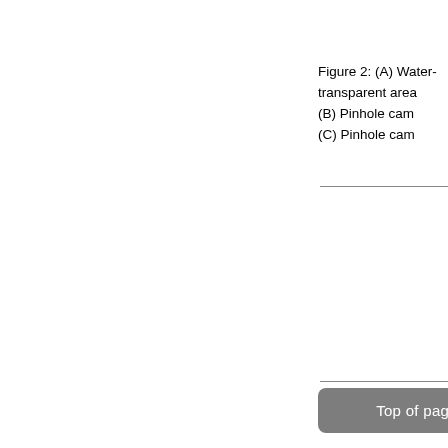Figure 2: (A) Water- transparent area (B) Pinhole cam (C) Pinhole cam
Top of page